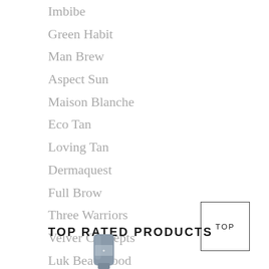Imbibe
Green Habit
Man Brew
Aspect Sun
Maison Blanche
Eco Tan
Loving Tan
Dermaquest
Full Brow
Three Warriors
Velver Concepts
Luk Beautifood
Feel Good Inc
TOP RATED PRODUCTS
[Figure (other): A product tube (cosmetic/beauty) partially visible at the bottom of the page]